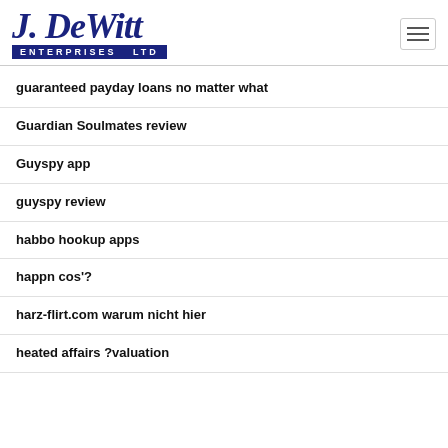[Figure (logo): J. DeWitt Enterprises Ltd logo with script text and navy blue bar]
guaranteed payday loans no matter what
Guardian Soulmates review
Guyspy app
guyspy review
habbo hookup apps
happn cos'?
harz-flirt.com warum nicht hier
heated affairs ?valuation